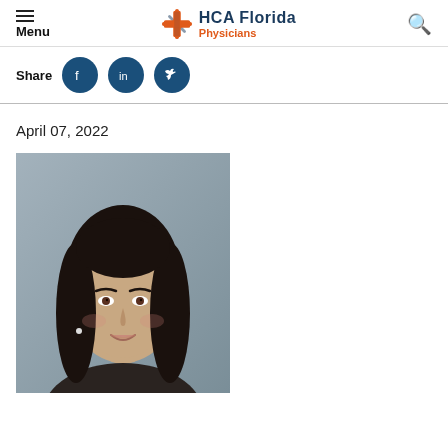Menu | HCA Florida Physicians
Share
April 07, 2022
[Figure (photo): Professional headshot of a woman with long dark hair, smiling, against a gray background]